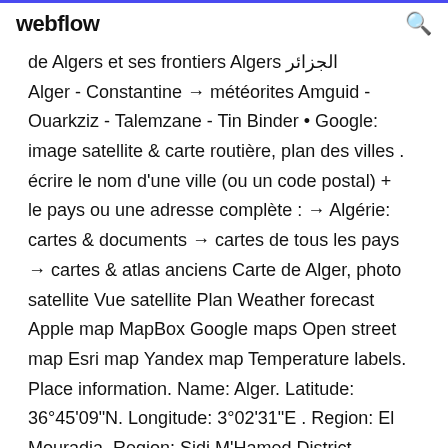webflow
de Algers et ses frontiers Algers الجزائر Alger - Constantine → météorites Amguid - Ouarkziz - Talemzane - Tin Binder • Google: image satellite & carte routière, plan des villes . écrire le nom d'une ville (ou un code postal) + le pays ou une adresse complète : → Algérie: cartes & documents → cartes de tous les pays → cartes & atlas anciens Carte de Alger, photo satellite Vue satellite Plan Weather forecast Apple map MapBox Google maps Open street map Esri map Yandex map Temperature labels. Place information. Name: Alger. Latitude: 36°45'09"N. Longitude: 3°02'31"E . Region: El Mouradia. Region: Sidi M'Hamed District. Region: Algiers. Country: Algérie. Carte de